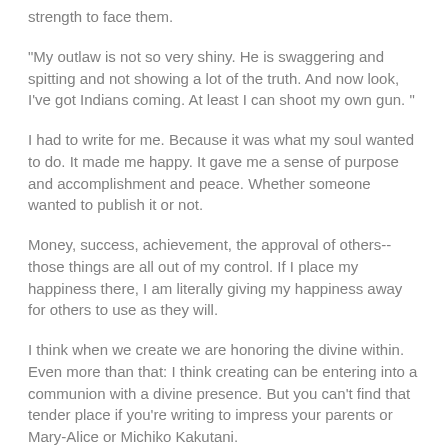strength to face them.
"My outlaw is not so very shiny. He is swaggering and spitting and not showing a lot of the truth. And now look, I've got Indians coming. At least I can shoot my own gun. "
I had to write for me. Because it was what my soul wanted to do. It made me happy. It gave me a sense of purpose and accomplishment and peace. Whether someone wanted to publish it or not.
Money, success, achievement, the approval of others--those things are all out of my control. If I place my happiness there, I am literally giving my happiness away for others to use as they will.
I think when we create we are honoring the divine within. Even more than that: I think creating can be entering into a communion with a divine presence. But you can't find that tender place if you're writing to impress your parents or Mary-Alice or Michiko Kakutani.